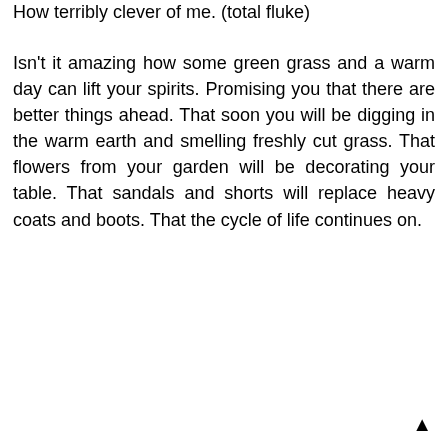How terribly clever of me. (total fluke)
Isn't it amazing how some green grass and a warm day can lift your spirits. Promising you that there are better things ahead. That soon you will be digging in the warm earth and smelling freshly cut grass. That flowers from your garden will be decorating your table. That sandals and shorts will replace heavy coats and boots. That the cycle of life continues on.